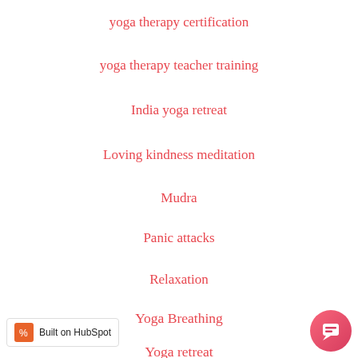yoga therapy certification
yoga therapy teacher training
India yoga retreat
Loving kindness meditation
Mudra
Panic attacks
Relaxation
Yoga Breathing
Yoga retreat